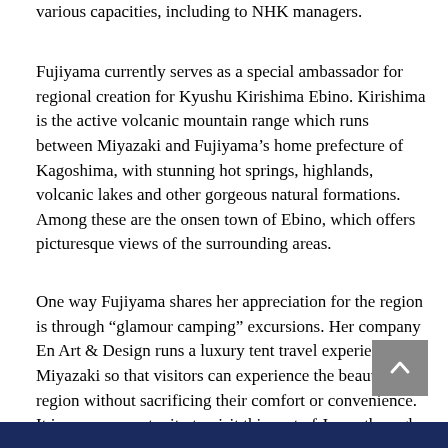various capacities, including to NHK managers.
Fujiyama currently serves as a special ambassador for regional creation for Kyushu Kirishima Ebino. Kirishima is the active volcanic mountain range which runs between Miyazaki and Fujiyama’s home prefecture of Kagoshima, with stunning hot springs, highlands, volcanic lakes and other gorgeous natural formations. Among these are the onsen town of Ebino, which offers picturesque views of the surrounding areas.
One way Fujiyama shares her appreciation for the region is through “glamour camping” excursions. Her company En Art & Design runs a luxury tent travel experience in Miyazaki so that visitors can experience the beauty of the region without sacrificing their comfort or convenience. It is a rare opportunity to visit this part of Japan through a full-service travel experience.
[Figure (other): Back to top button (grey square with upward arrow)]